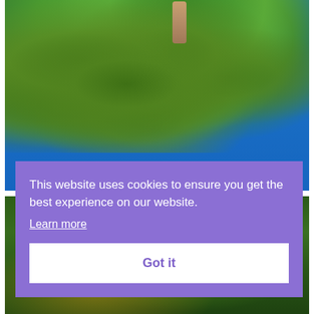[Figure (photo): Close-up photograph of dense green seed pods or fruits clustered on a palm tree trunk against a vivid blue sky]
[Figure (photo): Bottom portion showing green tropical foliage with yellow-green palm fronds against a dark green background]
This website uses cookies to ensure you get the best experience on our website.
Learn more
Got it